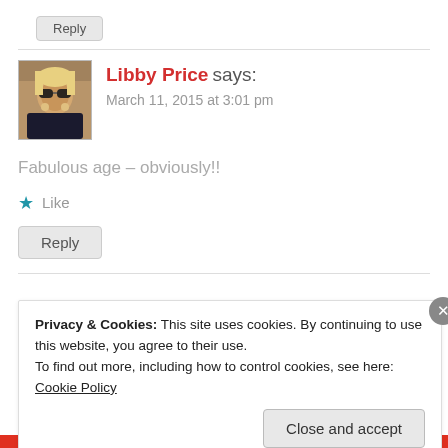Reply
Libby Price says:
March 11, 2015 at 3:01 pm
Fabulous age – obviously!!
★ Like
Reply
Privacy & Cookies: This site uses cookies. By continuing to use this website, you agree to their use.
To find out more, including how to control cookies, see here: Cookie Policy
Close and accept